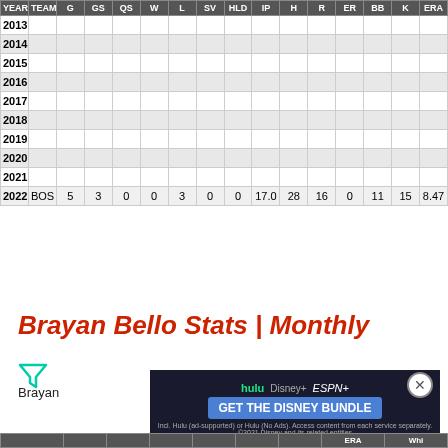| YEAR | TEAM | G | GS | QS | W | L | SV | HLD | IP | H | R | ER | BB | K | ERA |
| --- | --- | --- | --- | --- | --- | --- | --- | --- | --- | --- | --- | --- | --- | --- | --- |
| 2013 |  |  |  |  |  |  |  |  |  |  |  |  |  |  |  |
| 2014 |  |  |  |  |  |  |  |  |  |  |  |  |  |  |  |
| 2015 |  |  |  |  |  |  |  |  |  |  |  |  |  |  |  |
| 2016 |  |  |  |  |  |  |  |  |  |  |  |  |  |  |  |
| 2017 |  |  |  |  |  |  |  |  |  |  |  |  |  |  |  |
| 2018 |  |  |  |  |  |  |  |  |  |  |  |  |  |  |  |
| 2019 |  |  |  |  |  |  |  |  |  |  |  |  |  |  |  |
| 2020 |  |  |  |  |  |  |  |  |  |  |  |  |  |  |  |
| 2021 |  |  |  |  |  |  |  |  |  |  |  |  |  |  |  |
| 2022 | BOS | 5 | 3 | 0 | 0 | 3 | 0 | 0 | 17.0 | 28 | 16 | 0 | 11 | 15 | 8.47 |
Brayan Bello Stats | Monthly
Brayan ... gues.
[Figure (other): Advertisement banner for Hulu, Disney+, ESPN bundle - GET THE DISNEY BUNDLE]